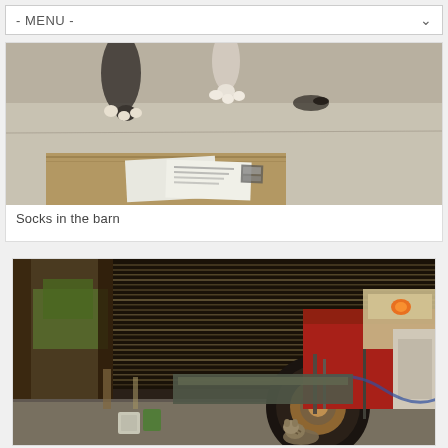- MENU -
[Figure (photo): Close-up photo of animal paws (likely a cat or dog) on a concrete barn floor, with a wooden board and papers/documents in the foreground]
Socks in the barn
[Figure (photo): Interior of a large barn with a red tractor parked inside. Light filters through slats in the barn walls. A small cat or animal is visible near the tractor wheel on the concrete floor.]